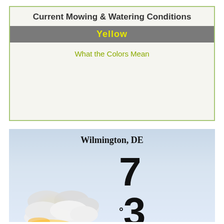Current Mowing & Watering Conditions
Yellow
What the Colors Mean
[Figure (other): Weather widget showing partly cloudy sky with sun icon for Wilmington, DE, temperature 73 degrees, time 7:35am EDT]
Wilmington, DE
73°
7:35amEDT